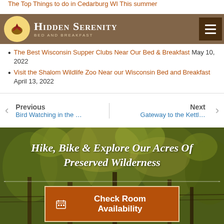The Top Things to do in Cedarburg WI This summer
Hidden Serenity Bed and Breakfast
The Best Wisconsin Supper Clubs Near Our Bed & Breakfast May 10, 2022
Visit the Shalom Wildlife Zoo Near our Wisconsin Bed and Breakfast April 13, 2022
Previous Bird Watching in the … / Next Gateway to the Kettl…
[Figure (photo): Outdoor forest/wilderness scene with trees and foliage, green and golden tones]
Hike, Bike & Explore Our Acres Of Preserved Wilderness
Check Room Availability